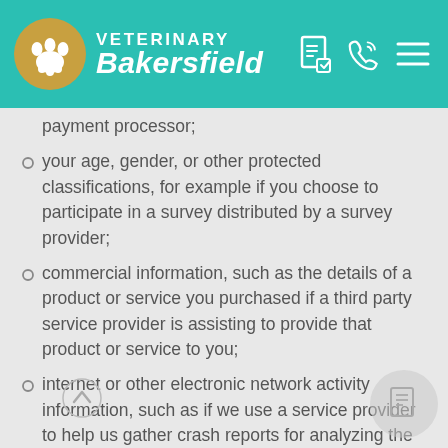Veterinary Bakersfield
payment processor;
your age, gender, or other protected classifications, for example if you choose to participate in a survey distributed by a survey provider;
commercial information, such as the details of a product or service you purchased if a third party service provider is assisting to provide that product or service to you;
internet or other electronic network activity information, such as if we use a service provider to help us gather crash reports for analyzing the health of our sites;
audio or visual information, for example if a